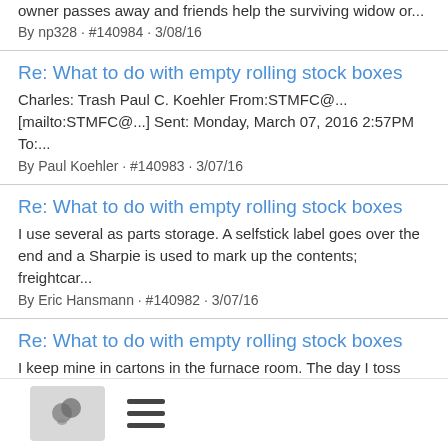owner passes away and friends help the surviving widow or...
By np328 · #140984 · 3/08/16
Re: What to do with empty rolling stock boxes
Charles: Trash Paul C. Koehler From:STMFC@... [mailto:STMFC@...] Sent: Monday, March 07, 2016 2:57PM To:...
By Paul Koehler · #140983 · 3/07/16
Re: What to do with empty rolling stock boxes
I use several as parts storage. A selfstick label goes over the end and a Sharpie is used to mark up the contents; freightcar...
By Eric Hansmann · #140982 · 3/07/16
Re: What to do with empty rolling stock boxes
I keep mine in cartons in the furnace room. The day I toss them is the day I move again. Pierre...
By Pierre Oliver · #140981 · 3/07/16
What to do with empty rolling stock boxes
S...